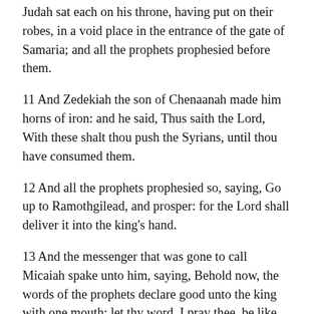Judah sat each on his throne, having put on their robes, in a void place in the entrance of the gate of Samaria; and all the prophets prophesied before them.
11 And Zedekiah the son of Chenaanah made him horns of iron: and he said, Thus saith the Lord, With these shalt thou push the Syrians, until thou have consumed them.
12 And all the prophets prophesied so, saying, Go up to Ramothgilead, and prosper: for the Lord shall deliver it into the king's hand.
13 And the messenger that was gone to call Micaiah spake unto him, saying, Behold now, the words of the prophets declare good unto the king with one mouth: let thy word, I pray thee, be like the word of one of them, and speak that which is good.
14 And Micaiah said, As the Lord liveth, what the Lord